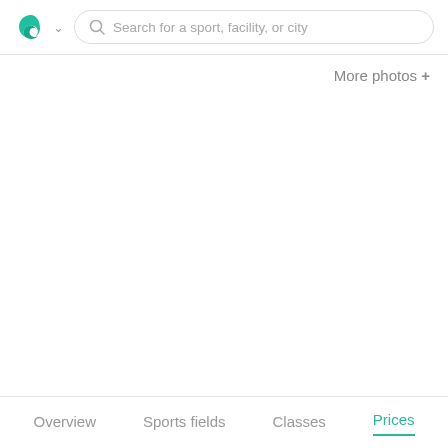[Figure (logo): Teal/green spiral logo icon with a chevron dropdown indicator]
Search for a sport, facility, or city
More photos +
Overview
Sports fields
Classes
Prices